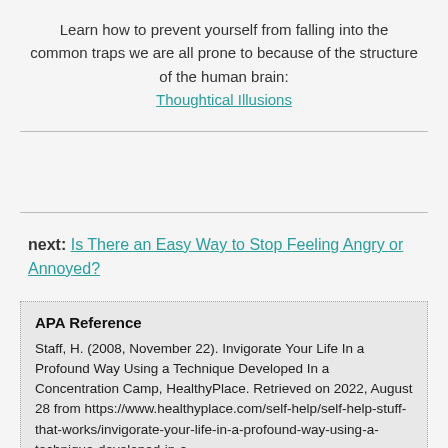Learn how to prevent yourself from falling into the common traps we are all prone to because of the structure of the human brain: Thoughtical Illusions
next: Is There an Easy Way to Stop Feeling Angry or Annoyed?
APA Reference
Staff, H. (2008, November 22). Invigorate Your Life In a Profound Way Using a Technique Developed In a Concentration Camp, HealthyPlace. Retrieved on 2022, August 28 from https://www.healthyplace.com/self-help/self-help-stuff-that-works/invigorate-your-life-in-a-profound-way-using-a-technique-developed-in-a-